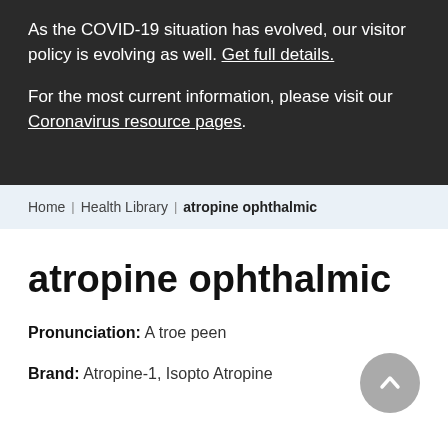As the COVID-19 situation has evolved, our visitor policy is evolving as well. Get full details.
For the most current information, please visit our Coronavirus resource pages.
Home | Health Library | atropine ophthalmic
atropine ophthalmic
Pronunciation: A troe peen
Brand: Atropine-1, Isopto Atropine